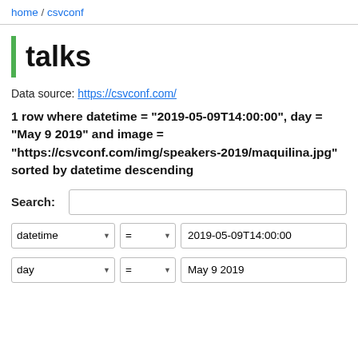home / csvconf
talks
Data source: https://csvconf.com/
1 row where datetime = "2019-05-09T14:00:00", day = "May 9 2019" and image = "https://csvconf.com/img/speakers-2019/maquilina.jpg" sorted by datetime descending
Search:
datetime = 2019-05-09T14:00:00
day = May 9 2019